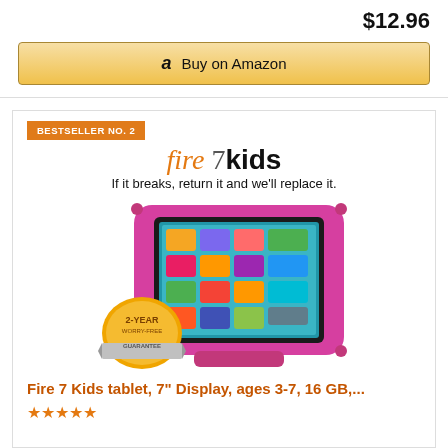$12.96
Buy on Amazon
BESTSELLER NO. 2
fire 7 kids
If it breaks, return it and we'll replace it.
[Figure (photo): Fire 7 Kids tablet in pink/magenta protective case, shown propped up, with a 2-Year Worry-Free Guarantee badge in the lower left]
Fire 7 Kids tablet, 7" Display, ages 3-7, 16 GB,...